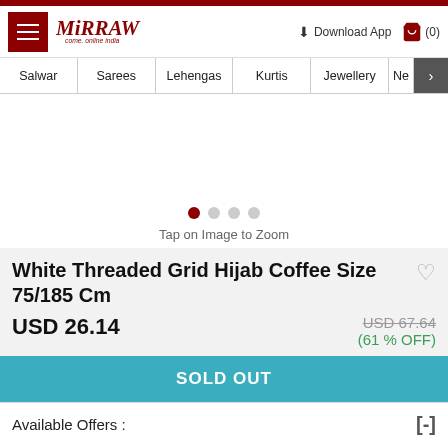Mirraw — Download App (0)
Salwar | Sarees | Lehengas | Kurtis | Jewellery | Ne >
[Figure (screenshot): Product image area with carousel dots (1 active of 4) and 'Tap on Image to Zoom' label]
White Threaded Grid Hijab Coffee Size 75/185 Cm
USD 26.14
USD 67.64
(61 % OFF)
SOLD OUT
Available Offers :